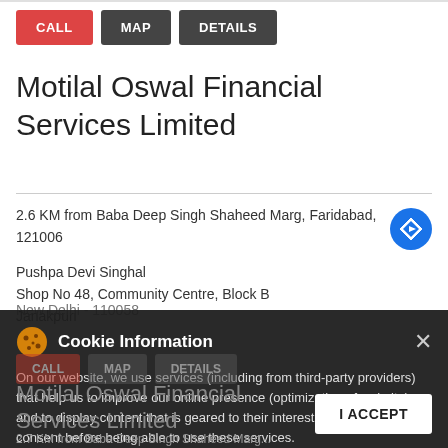[Figure (screenshot): Screenshot of a business listing page for Motilal Oswal Financial Services Limited with CALL, MAP, DETAILS buttons at top]
Motilal Oswal Financial Services Limited
2.6 KM from Baba Deep Singh Shaheed Marg, Faridabad, 121006
Pushpa Devi Singhal
Shop No 48, Community Centre, Block B
Janakpuri
New Delhi - 110058
Cookie Information
On our website, we use services (including from third-party providers) that help us to improve our online presence (optimization of website) and to display content that is geared to their interests. We need your consent before being able to use these services.
Motilal Oswal Financial Services Limited
2.7 KM from Baba Deep Singh Shaheed Marg...